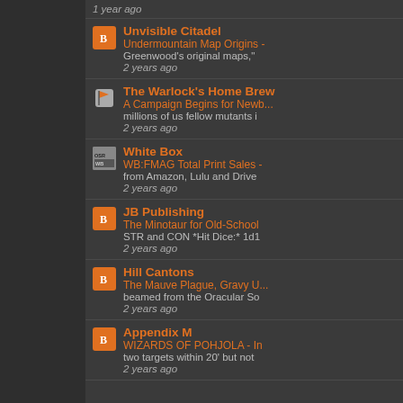1 year ago
Unvisible Citadel | Undermountain Map Origins - Greenwood's original maps," | 2 years ago
The Warlock's Home Brew | A Campaign Begins for Newb... millions of us fellow mutants i | 2 years ago
White Box | WB:FMAG Total Print Sales - from Amazon, Lulu and Drive | 2 years ago
JB Publishing | The Minotaur for Old-School STR and CON *Hit Dice:* 1d1 | 2 years ago
Hill Cantons | The Mauve Plague, Gravy U... beamed from the Oracular So | 2 years ago
Appendix M | WIZARDS OF POHJOLA - In two targets within 20' but not | 2 years ago